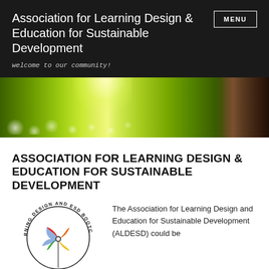Association for Learning Design & Education for Sustainable Development
[Figure (photo): Wide landscape photo of a green grassy field with white wildflowers and a tree trunk on the right side, with bright sunlight streaming through.]
ASSOCIATION FOR LEARNING DESIGN & EDUCATION FOR SUSTAINABLE DEVELOPMENT
[Figure (logo): Circular logo with text 'LEARNING DESIGN AND ESD BOOTC...' around the edge and a colorful pinwheel/windmill graphic in the center.]
The Association for Learning Design and Education for Sustainable Development (ALDESD) could be...